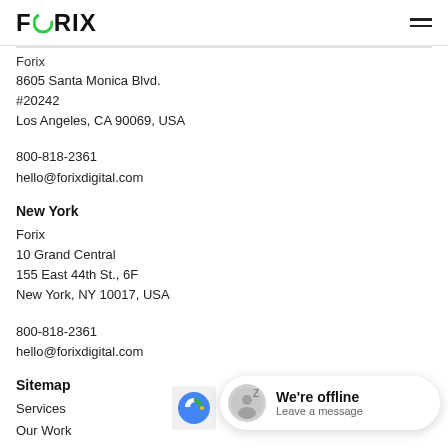FORIX
Forix
8605 Santa Monica Blvd.
#20242
Los Angeles, CA 90069, USA
800-818-2361
hello@forixdigital.com
New York
Forix
10 Grand Central
155 East 44th St., 6F
New York, NY 10017, USA
800-818-2361
hello@forixdigital.com
Sitemap
Services
Our Work
About